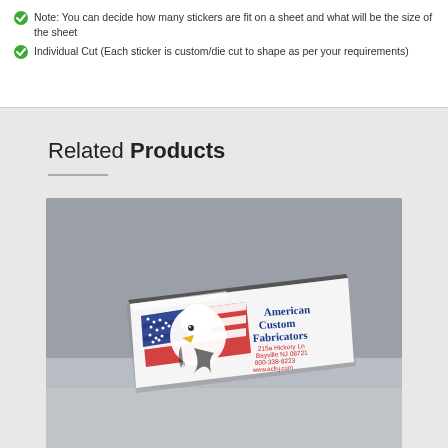Note: You can decide how many stickers are fit on a sheet and what will be the size of the sheet
Individual Cut (Each sticker is custom/die cut to shape as per your requirements)
Related Products
[Figure (photo): A stack of rectangular custom stickers/business cards for 'American Custom Fabricators', featuring a bald eagle head with American flag design on the left side, and company text on the right: American Custom Fabricators, 215a Hickory Ln, Bayville NJ 08721, 800-338-8223, www.acfnj.com. The stack is photographed against a gray background.]